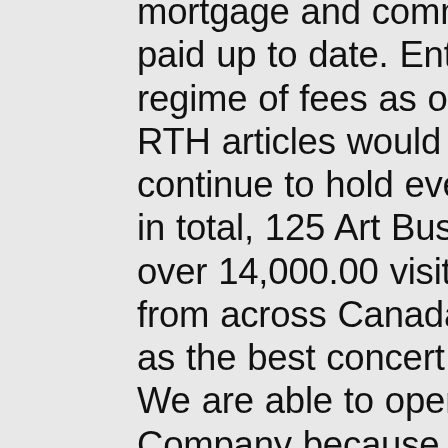mortgage and commercial rents are paid up to date. Entering into a punitive regime of fees as outlined in many RTH articles would sink us. We continue to hold events; now over 400 in total, 125 Art Bus excursions and over 14,000.00 visitors. Performers from across Canada continue to see us as the best concert venue in Hamilton. We are able to operate the Pearl Company because we live here as well having combined our residence and our work into one overhead. I am a resident and